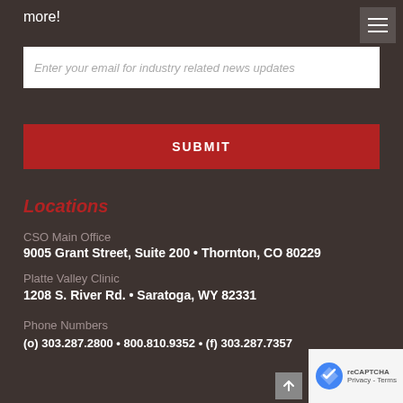more!
Enter your email for industry related news updates
SUBMIT
Locations
CSO Main Office
9005 Grant Street, Suite 200 • Thornton, CO 80229
Platte Valley Clinic
1208 S. River Rd. • Saratoga, WY 82331
Phone Numbers
(o) 303.287.2800 • 800.810.9352 • (f) 303.287.7357